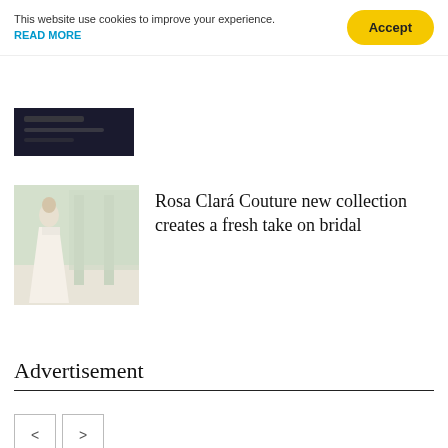This website use cookies to improve your experience. READ MORE
[Figure (photo): Partially visible dark image at top, likely showing a close-up object on dark background]
[Figure (photo): A bride in a white wedding gown standing in an elegant interior setting]
Rosa Clará Couture new collection creates a fresh take on bridal
< >
Advertisement